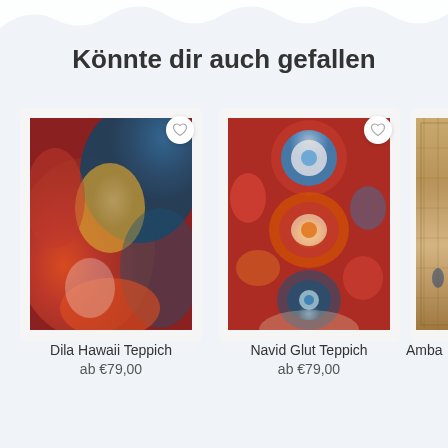Könnte dir auch gefallen
[Figure (photo): Colorful abstract distressed rug with red, blue, orange and cream tones — Dila Hawaii Teppich]
Dila Hawaii Teppich
ab €79,00
[Figure (photo): Colorful patchwork rug with circular medallion patterns in red, teal, blue and orange — Navid Glut Teppich]
Navid Glut Teppich
ab €79,00
[Figure (photo): Partially visible narrow tan/beige traditional rug — Amba (truncated)]